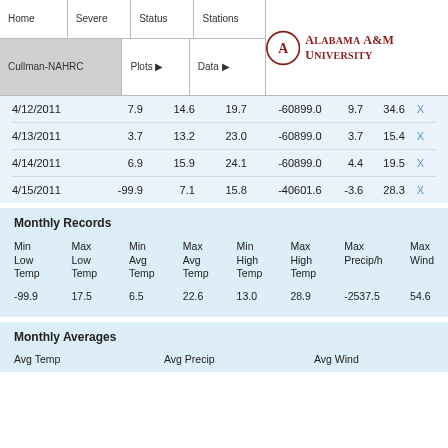Home | Severe | Status | Stations | Cullman-NAHRC | Plots ▶ | Data ▶ | Alabama A&M University
| Date | Col1 | Col2 | Col3 | Col4 | Col5 | Col6 |  |
| --- | --- | --- | --- | --- | --- | --- | --- |
| 4/12/2011 | 7.9 | 14.6 | 19.7 | -60899.0 | 9.7 | 34.6 | X |
| 4/13/2011 | 3.7 | 13.2 | 23.0 | -60899.0 | 3.7 | 15.4 | X |
| 4/14/2011 | 6.9 | 15.9 | 24.1 | -60899.0 | 4.4 | 19.5 | X |
| 4/15/2011 | -99.9 | 7.1 | 15.8 | -40601.6 | -3.6 | 28.3 | X |
Monthly Records
| Min Low Temp | Max Low Temp | Min Avg Temp | Max Avg Temp | Min High Temp | Max High Temp | Max Precip/h | Max Wind |
| --- | --- | --- | --- | --- | --- | --- | --- |
| -99.9 | 17.5 | 6.5 | 22.6 | 13.0 | 28.9 | -2537.5 | 54.6 |
Monthly Averages
Avg Temp | Avg Precip | Avg Wind